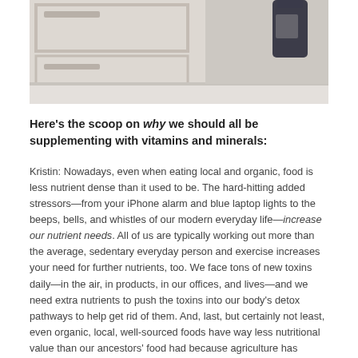[Figure (photo): Photo of white kitchen cabinet drawers with handles and a dark bottle visible on the counter surface]
Here's the scoop on why we should all be supplementing with vitamins and minerals:
Kristin: Nowadays, even when eating local and organic, food is less nutrient dense than it used to be. The hard-hitting added stressors—from your iPhone alarm and blue laptop lights to the beeps, bells, and whistles of our modern everyday life—increase our nutrient needs. All of us are typically working out more than the average, sedentary everyday person and exercise increases your need for further nutrients, too. We face tons of new toxins daily—in the air, in products, in our offices, and lives—and we need extra nutrients to push the toxins into our body's detox pathways to help get rid of them. And, last, but certainly not least, even organic, local, well-sourced foods have way less nutritional value than our ancestors' food had because agriculture has changed so much over time, and all these added stressors affect everything down to the soil our food grows in.